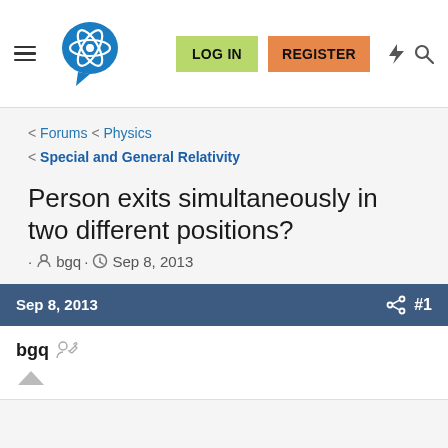Navigation bar with hamburger menu, logo, LOG IN button, REGISTER button, and icons
< Forums < Physics
< Special and General Relativity
Person exits simultaneously in two different positions?
· bgq · Sep 8, 2013
Sep 8, 2013  #1
bgq